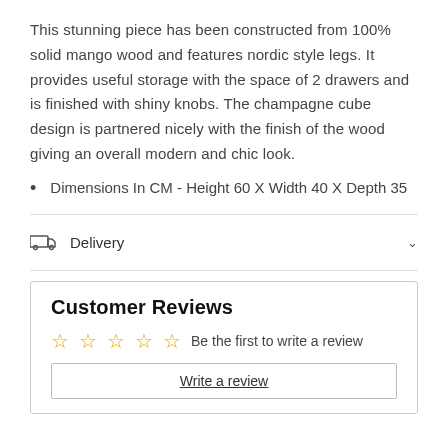This stunning piece has been constructed from 100% solid mango wood and features nordic style legs. It provides useful storage with the space of 2 drawers and is finished with shiny knobs. The champagne cube design is partnered nicely with the finish of the wood giving an overall modern and chic look.
Dimensions In CM - Height 60 X Width 40 X Depth 35
Delivery
Customer Reviews
Be the first to write a review
Write a review